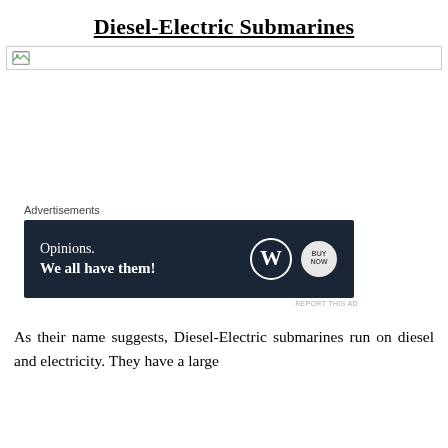Diesel-Electric Submarines
[Figure (photo): Broken/missing image placeholder with a small broken image icon, with a horizontal line border at top]
[Figure (other): Advertisement banner with dark navy background. Text reads: 'Opinions. We all have them!' with WordPress logo and another circular logo on the right side.]
As their name suggests, Diesel-Electric submarines run on diesel and electricity. They have a large